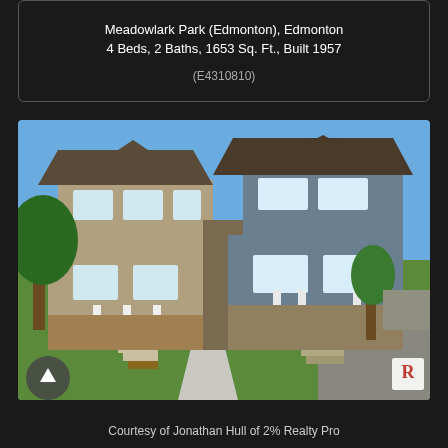Meadowlark Park (Edmonton), Edmonton
4 Beds, 2 Baths, 1653 Sq. Ft., Built 1957
(E4310810)
[Figure (photo): Exterior photo of two two-story residential homes side by side with stone and siding exteriors, white front porches with stairs, a tree on the right, a concrete walkway, and green lawn under a blue sky.]
Courtesy of Jonathan Hull of 2% Realty Pro